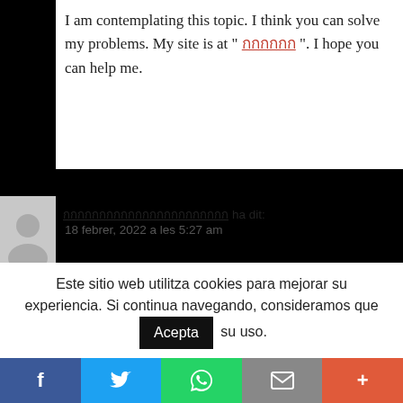I am contemplating this topic. I think you can solve my problems. My site is at " [Thai text] ". I hope you can help me.
[Thai username] ha dit: Respon
18 febrer, 2022 a les 5:27 am
Very great post I simply stumbled upon your weblog and wished to say that I have really enjoyed surfing
Este sitio web utilitza cookies para mejorar su experiencia. Si continua navegando, consideramos que Acepta su uso.